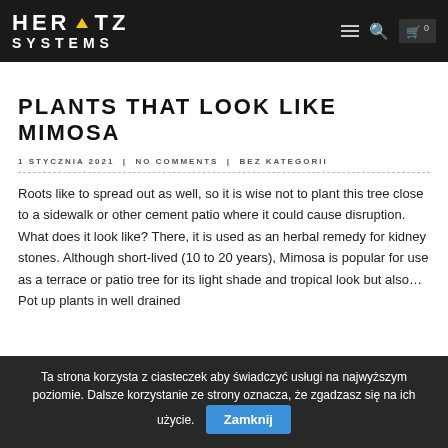HERTZ SYSTEMS
PLANTS THAT LOOK LIKE MIMOSA
1 STYCZNIA 2021 | NO COMMENTS | BEZ KATEGORII
Roots like to spread out as well, so it is wise not to plant this tree close to a sidewalk or other cement patio where it could cause disruption. What does it look like? There, it is used as an herbal remedy for kidney stones. Although short-lived (10 to 20 years), Mimosa is popular for use as a terrace or patio tree for its light shade and tropical look but also… Pot up plants in well drained
Ta strona korzysta z ciasteczek aby świadczyć usługi na najwyższym poziomie. Dalsze korzystanie ze strony oznacza, że zgadzasz się na ich użycie. Zamknij